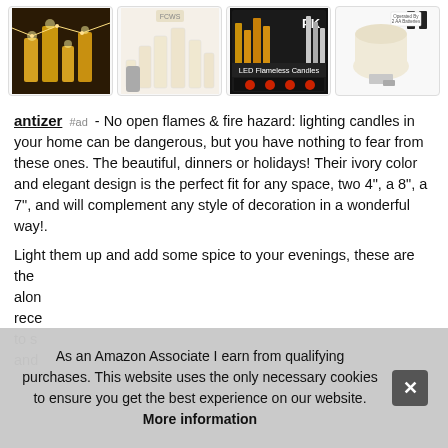[Figure (photo): Four product images of LED flameless candles in a horizontal strip]
antizer #ad - No open flames & fire hazard: lighting candles in your home can be dangerous, but you have nothing to fear from these ones. The beautiful, dinners or holidays! Their ivory color and elegant design is the perfect fit for any space, two 4", a 8", a 7", and will complement any style of decoration in a wonderful way!.
Light them up and add some spice to your evenings, these are the along rece to s and
As an Amazon Associate I earn from qualifying purchases. This website uses the only necessary cookies to ensure you get the best experience on our website. More information